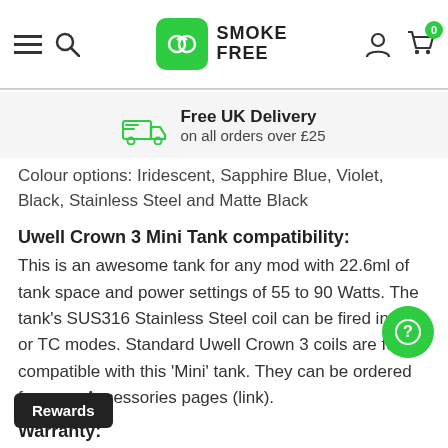Smoke Free — navigation header with logo, search, account, and cart (0 items)
Free UK Delivery on all orders over £25
Colour options: Iridescent, Sapphire Blue, Violet, Black, Stainless Steel and Matte Black
Uwell Crown 3 Mini Tank compatibility:
This is an awesome tank for any mod with 22.6ml of tank space and power settings of 55 to 90 Watts. The tank's SUS316 Stainless Steel coil can be fired in VW, or TC modes. Standard Uwell Crown 3 coils are fully compatible with this 'Mini' tank. They can be ordered from our Accessories pages (link).
Warranty:
All product warranty details are shown on our terms &